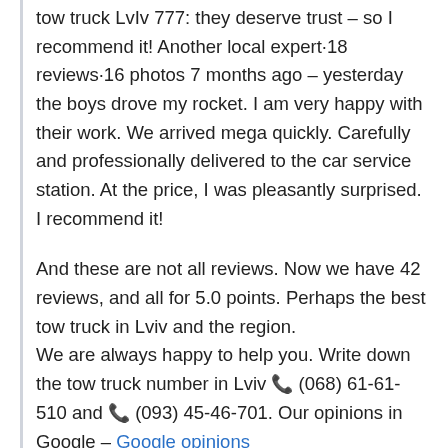tow truck LvIv 777: they deserve trust – so I recommend it! Another local expert·18 reviews·16 photos 7 months ago – yesterday the boys drove my rocket. I am very happy with their work. We arrived mega quickly. Carefully and professionally delivered to the car service station. At the price, I was pleasantly surprised. I recommend it!

And these are not all reviews. Now we have 42 reviews, and all for 5.0 points. Perhaps the best tow truck in Lviv and the region.
We are always happy to help you. Write down the tow truck number in Lviv 📞 (068) 61-61-510 and 📞 (093) 45-46-701. Our opinions in Google – Google opinions